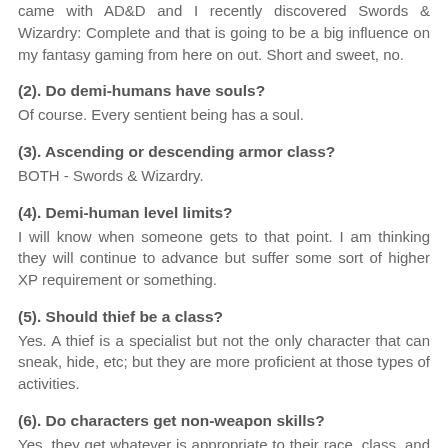came with AD&D and I recently discovered Swords & Wizardry: Complete and that is going to be a big influence on my fantasy gaming from here on out.  Short and sweet, no.
(2). Do demi-humans have souls?
Of course.  Every sentient being has a soul.
(3). Ascending or descending armor class?
BOTH - Swords & Wizardry.
(4). Demi-human level limits?
I will know when someone gets to that point.  I am thinking they will continue to advance but suffer some sort of higher XP requirement or something.
(5). Should thief be a class?
Yes.  A thief is a specialist but not the only character that can sneak, hide, etc; but they are more proficient at those types of activities.
(6). Do characters get non-weapon skills?
Yes, they get whatever is appropriate to their race, class, and background to start plus some from a list of...